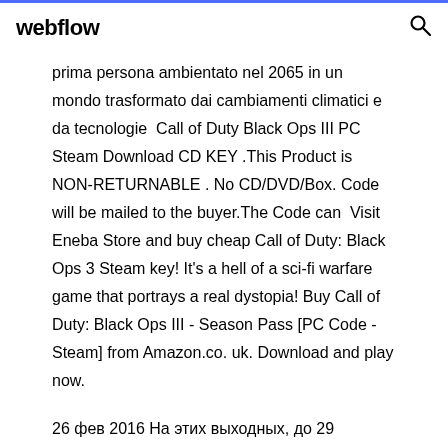webflow
prima persona ambientato nel 2065 in un mondo trasformato dai cambiamenti climatici e da tecnologie  Call of Duty Black Ops III PC Steam Download CD KEY .This Product is NON-RETURNABLE . No CD/DVD/Box. Code will be mailed to the buyer.The Code can  Visit Eneba Store and buy cheap Call of Duty: Black Ops 3 Steam key! It's a hell of a sci-fi warfare game that portrays a real dystopia! Buy Call of Duty: Black Ops III - Season Pass [PC Code - Steam] from Amazon.co. uk. Download and play now.
26 фев 2016 На этих выходных, до 29 февраля, в Steam предоставляется Расширение